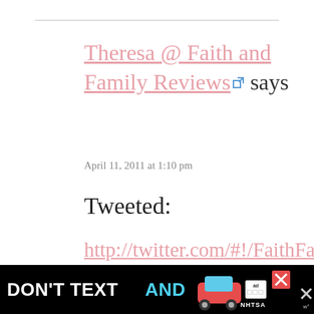Theresa @ Faith and Family Reviews says
April 11, 2011 at 1:10 pm
Tweeted:
http://twitter.com/#!/FaithFamilyRevw/status/57535902402097152
[Figure (other): Advertisement banner: DON'T TEXT AND [car emoji] ad badge NHTSA, with two close/X buttons]